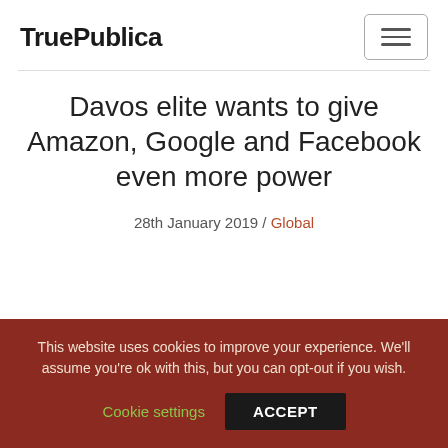TruePublica
Davos elite wants to give Amazon, Google and Facebook even more power
28th January 2019 / Global
This website uses cookies to improve your experience. We'll assume you're ok with this, but you can opt-out if you wish.
Cookie settings  ACCEPT